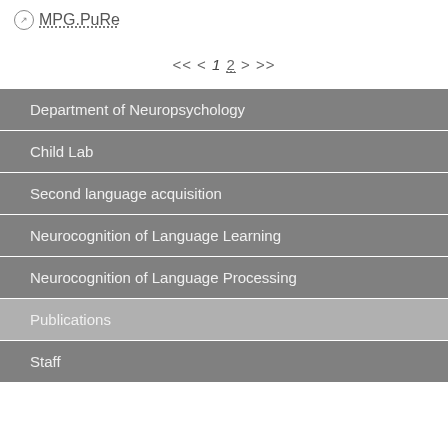MPG.PuRe
<< < 1 2 > >>
Department of Neuropsychology
Child Lab
Second language acquisition
Neurocognition of Language Learning
Neurocognition of Language Processing
Publications
Staff